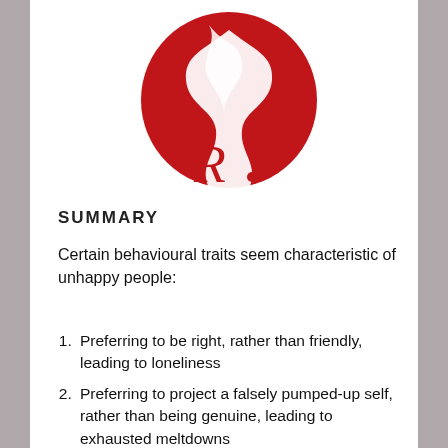[Figure (logo): Red circular logo with a flame/wave design and a cursive 'R' with a dot, in red on white background]
SUMMARY
Certain behavioural traits seem characteristic of unhappy people:
Preferring to be right, rather than friendly, leading to loneliness
Preferring to project a falsely pumped-up self, rather than being genuine, leading to exhausted meltdowns